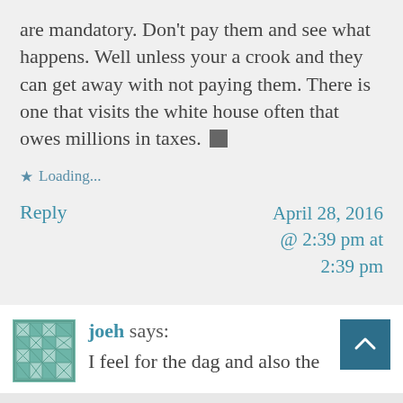are mandatory. Don't pay them and see what happens. Well unless your a crook and they can get away with not paying them. There is one that visits the white house often that owes millions in taxes. 🔲
★ Loading...
Reply     April 28, 2016 @ 2:39 pm at 2:39 pm
[Figure (illustration): Avatar icon for user joeh — a teal/green quilt-pattern geometric avatar]
joeh says:
I feel for the dag and also the